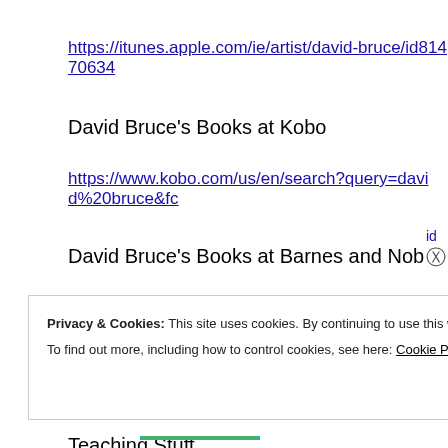https://itunes.apple.com/ie/artist/david-bruce/id81470634
David Bruce's Books at Kobo
https://www.kobo.com/us/en/search?query=david%20bruce&fc...
David Bruce's Books at Barnes and Noble
https://www.barnesandnoble.com/s/%22David%20Bruce%22;js...atgap06?Ntk=P_key_Contributor_List&Ns=P_Sales_Rank&Nt...
Teaching Stuff
Privacy & Cookies: This site uses cookies. By continuing to use this website, you agree to their use.
To find out more, including how to control cookies, see here: Cookie Policy
Close and accept